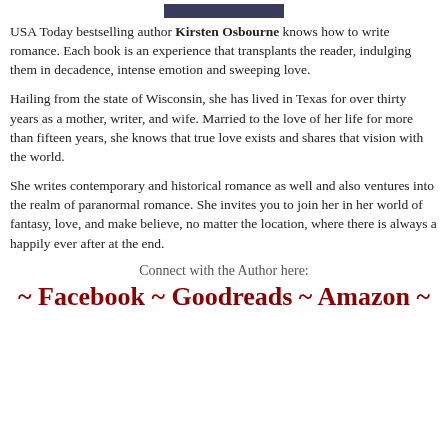[Figure (photo): Partial image at top of page, dark blue tones, cropped]
USA Today bestselling author Kirsten Osbourne knows how to write romance. Each book is an experience that transplants the reader, indulging them in decadence, intense emotion and sweeping love.
Hailing from the state of Wisconsin, she has lived in Texas for over thirty years as a mother, writer, and wife. Married to the love of her life for more than fifteen years, she knows that true love exists and shares that vision with the world.
She writes contemporary and historical romance as well and also ventures into the realm of paranormal romance. She invites you to join her in her world of fantasy, love, and make believe, no matter the location, where there is always a happily ever after at the end.
Connect with the Author here:
~ Facebook ~ Goodreads ~ Amazon ~